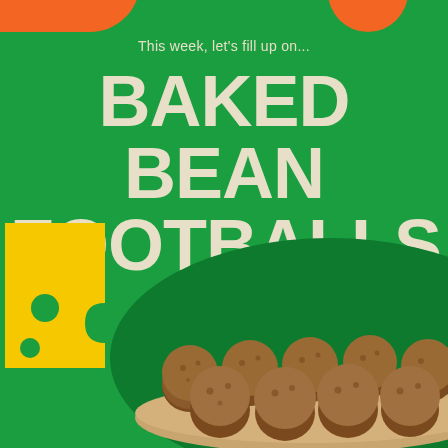This week, let's fill up on...
BAKED BEAN FOOTBALLS
[Figure (photo): Breaded baked bean footballs (round breadcrumb-coated balls) piled on a wooden board, with a yellow cheese puzzle piece graphic on the left side and dark green blob background shape behind the food.]